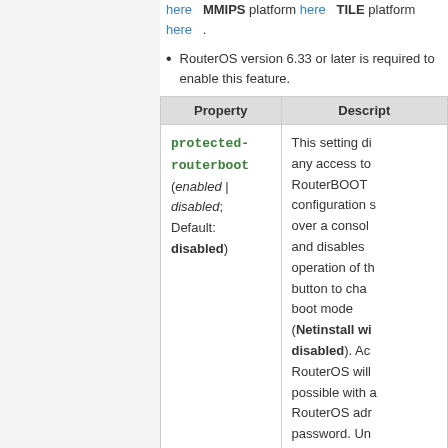here  MMIPS platform here  TILE platform here .
RouterOS version 6.33 or later is required to enable this feature.
| Property | Description |
| --- | --- |
| protected-routerboot (enabled | disabled; Default: disabled) | This setting di... any access to RouterBOOT configuration s... over a console... and disables operation of th... button to cha... boot mode (Netinstall wi... disabled). Ac... RouterOS will... possible with a... RouterOS adr... password. Un... of this option i... possible from... Route OS if... |